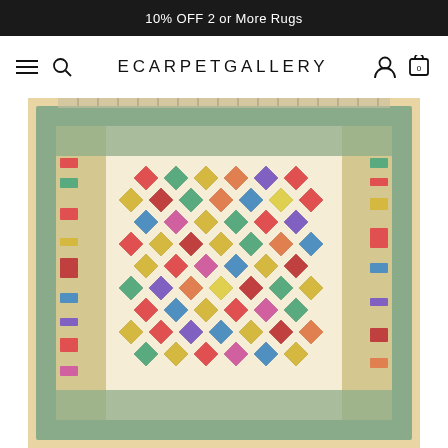10% OFF 2 or More Rugs
ECARPETGALLERY
[Figure (photo): A colorful Afghan kilim rug with geometric diamond patterns in red, teal, yellow, pink, green, and blue, displayed on a white background. The rug features a central field of multi-colored diamond medallions and decorative border panels on the sides.]